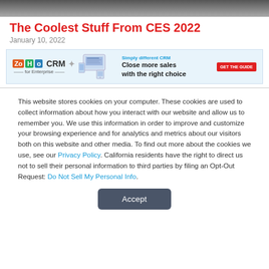[Figure (photo): Dark banner image at top of page, appears to be a crowd or event photo]
The Coolest Stuff From CES 2022
January 10, 2022
[Figure (infographic): Zoho CRM advertisement banner with logo, product image, tagline 'Simply different CRM', 'Close more sales with the right choice', and red 'GET THE GUIDE' button]
This website stores cookies on your computer. These cookies are used to collect information about how you interact with our website and allow us to remember you. We use this information in order to improve and customize your browsing experience and for analytics and metrics about our visitors both on this website and other media. To find out more about the cookies we use, see our Privacy Policy. California residents have the right to direct us not to sell their personal information to third parties by filing an Opt-Out Request: Do Not Sell My Personal Info.
Accept